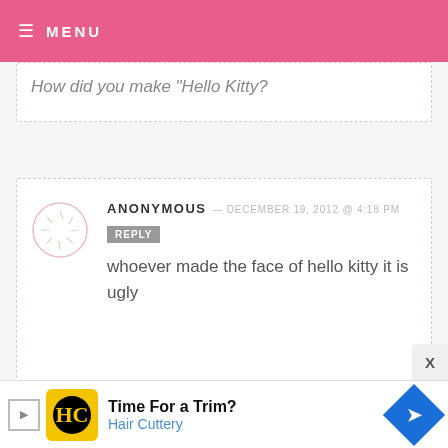MENU
How did you make "Hello Kitty?
ANONYMOUS — DECEMBER 19, 2012 @ 4:18 PM
REPLY
whoever made the face of hello kitty it is ugly
POONAM POONAM — OCTOBER 24, 2012 @ 9:28 PM
REPLY
HIIIIIIIIIII
[Figure (infographic): Hair Cuttery advertisement banner: Time For a Trim?]